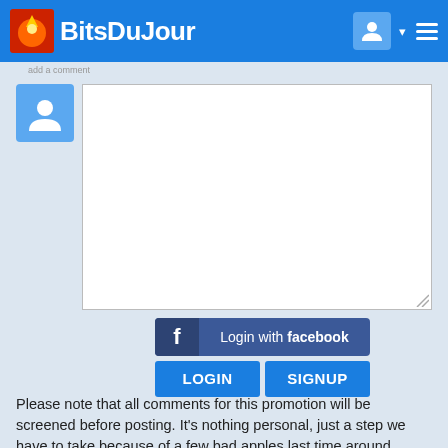BitsDuJour
[Figure (screenshot): Comment input area with user avatar icon on left and empty white textarea on right]
[Figure (screenshot): Login with facebook button (blue), LOGIN and SIGNUP buttons below it]
Please note that all comments for this promotion will be screened before posting. It's nothing personal, just a step we have to take because of a few bad apples last time around.